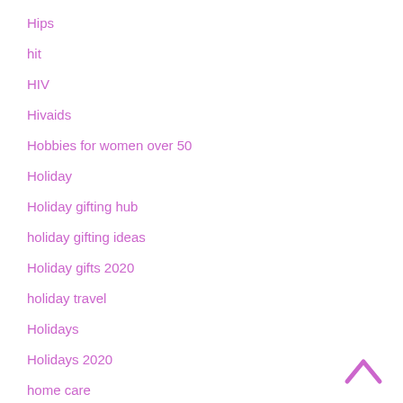Hips
hit
HIV
Hivaids
Hobbies for women over 50
Holiday
Holiday gifting hub
holiday gifting ideas
Holiday gifts 2020
holiday travel
Holidays
Holidays 2020
home care
Home modifications